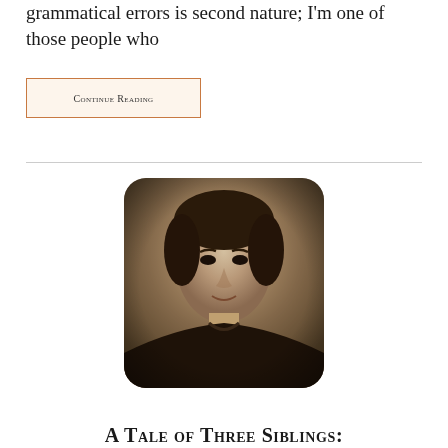grammatical errors is second nature; I'm one of those people who
Continue Reading
[Figure (photo): Black and white vintage portrait photograph of a young woman with dark hair pinned up, wearing a dark high-collared garment, displayed with rounded corners]
A Tale of Three Siblings: